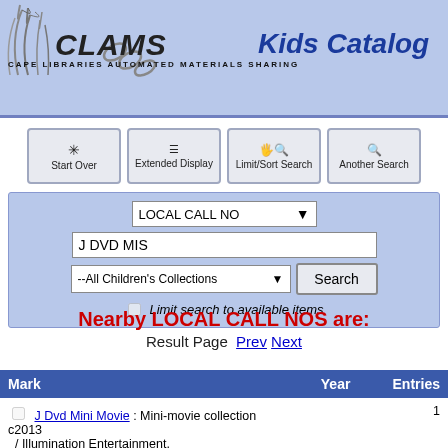CLAMS Kids Catalog — CAPE LIBRARIES AUTOMATED MATERIALS SHARING
[Figure (logo): CLAMS logo with grass/seagrass illustration and chain link, with Kids Catalog heading]
[Figure (screenshot): Navigation buttons: Start Over, Extended Display, Limit/Sort Search, Another Search]
LOCAL CALL NO — J DVD MIS — All Children's Collections — Search — Limit search to available items
Nearby LOCAL CALL NOS are:
Result Page  Prev  Next
| Mark | Year | Entries |
| --- | --- | --- |
| J Dvd Mini Movie : Mini-movie collection / Illumination Entertainment. | c2013 | 1 |